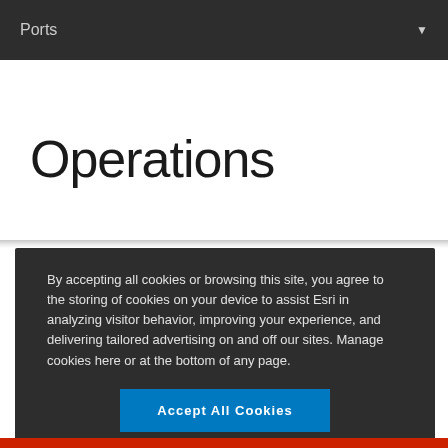Ports
Operations
By accepting all cookies or browsing this site, you agree to the storing of cookies on your device to assist Esri in analyzing visitor behavior, improving your experience, and delivering tailored advertising on and off our sites. Manage cookies here or at the bottom of any page.
Accept All Cookies